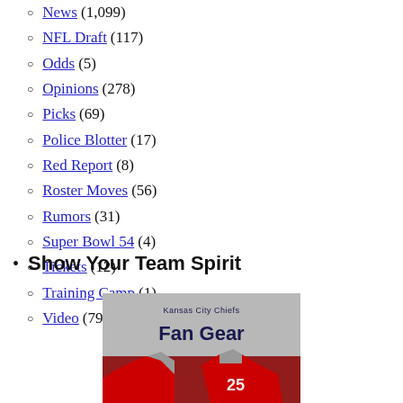News (1,099)
NFL Draft (117)
Odds (5)
Opinions (278)
Picks (69)
Police Blotter (17)
Red Report (8)
Roster Moves (56)
Rumors (31)
Super Bowl 54 (4)
Tickets (12)
Training Camp (1)
Video (79)
Show Your Team Spirit
[Figure (photo): Kansas City Chiefs Fan Gear promotional image showing red NFL jerseys with players in background]